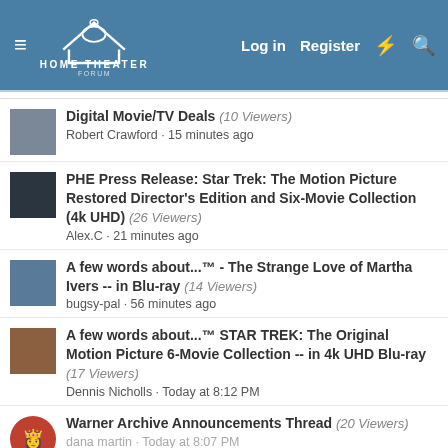Home Theater Forum — Log in | Register
Digital Movie/TV Deals (10 Viewers) — Robert Crawford · 15 minutes ago
PHE Press Release: Star Trek: The Motion Picture Restored Director's Edition and Six-Movie Collection (4k UHD) (26 Viewers) — Alex.C · 21 minutes ago
A few words about...™ - The Strange Love of Martha Ivers -- in Blu-ray (14 Viewers) — bugsy-pal · 56 minutes ago
A few words about...™ STAR TREK: The Original Motion Picture 6-Movie Collection -- in 4k UHD Blu-ray (17 Viewers) — Dennis Nicholls · Today at 8:12 PM
Warner Archive Announcements Thread (20 Viewers) — dana martin · Today at 8:07 PM
Can Bose ACM10 II Base be swapped with Bose ACM5 II